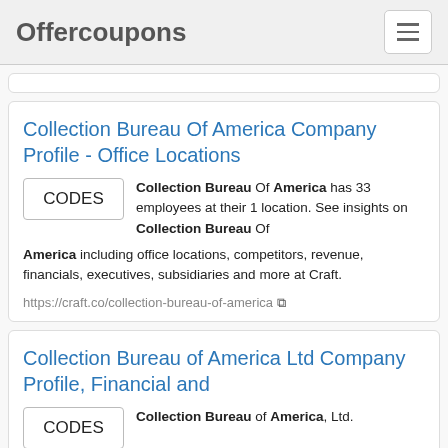Offercoupons
Collection Bureau Of America Company Profile - Office Locations
Collection Bureau Of America has 33 employees at their 1 location. See insights on Collection Bureau Of America including office locations, competitors, revenue, financials, executives, subsidiaries and more at Craft.
https://craft.co/collection-bureau-of-america
Collection Bureau of America Ltd Company Profile, Financial and
Collection Bureau of America, Ltd.